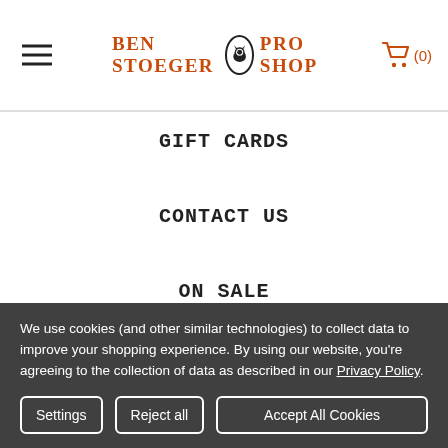BEN STOEGER PRO SHOP (0)
GIFT CARDS
CONTACT US
ON SALE
BRANDS
ABOUT US
BLOG
PRIVACY POLICY
We use cookies (and other similar technologies) to collect data to improve your shopping experience. By using our website, you're agreeing to the collection of data as described in our Privacy Policy.
Settings | Reject all | Accept All Cookies